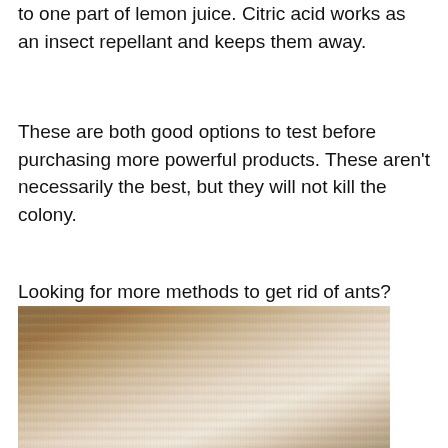to one part of lemon juice. Citric acid works as an insect repellant and keeps them away.
These are both good options to test before purchasing more powerful products. These aren't necessarily the best, but they will not kill the colony.
Looking for more methods to get rid of ants?
For our best ant killer tips, click here!
[Figure (photo): Photo showing a wooden surface or furniture piece, partially visible, with a light-colored background.]